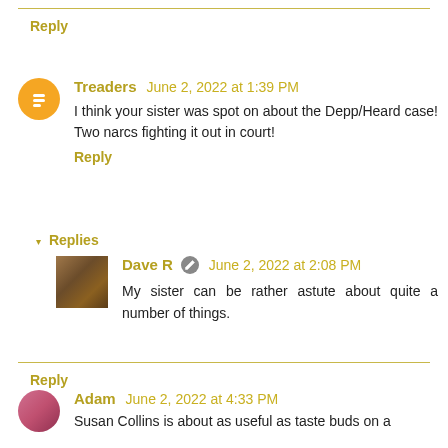Reply
Treaders June 2, 2022 at 1:39 PM
I think your sister was spot on about the Depp/Heard case! Two narcs fighting it out in court!
Reply
Replies
Dave R  June 2, 2022 at 2:08 PM
My sister can be rather astute about quite a number of things.
Reply
Adam June 2, 2022 at 4:33 PM
Susan Collins is about as useful as taste buds on a